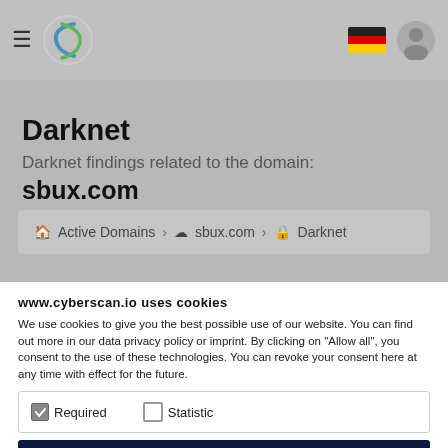Cyberscan navigation header with hamburger menu, logo, German flag, and user icon
Darknet — Darknet findings related to the domain: sbux.com
Active Domains > sbux.com > Darknet
www.cyberscan.io uses cookies
We use cookies to give you the best possible use of our website. You can find out more in our data privacy policy or imprint. By clicking on "Allow all", you consent to the use of these technologies. You can revoke your consent here at any time with effect for the future.
Required (checked), Statistic (unchecked)
More details
Accept selected cookies
Accept all cookies